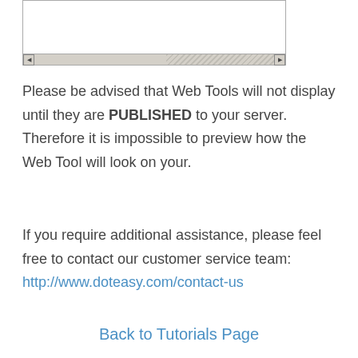[Figure (screenshot): A UI widget showing a scrollable area with a horizontal scrollbar. The scrollbar has a left arrow button, a scroll thumb track (partially filled), a hatched/grey area, and a right arrow button.]
Please be advised that Web Tools will not display until they are PUBLISHED to your server. Therefore it is impossible to preview how the Web Tool will look on your.
If you require additional assistance, please feel free to contact our customer service team:
http://www.doteasy.com/contact-us
Back to Tutorials Page